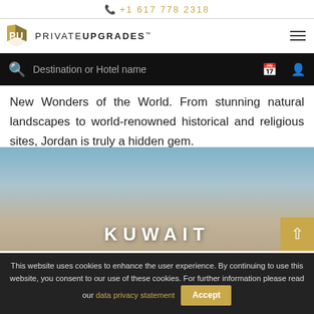+1 617 778 2318
[Figure (logo): PrivateUpgrades logo with stylized PU monogram icon and text PRIVATEUPGRADES]
Destination or Hotel name
New Wonders of the World. From stunning natural landscapes to world-renowned historical and religious sites, Jordan is truly a hidden gem.
[Figure (photo): Landscape photo with blue sky and terrain, Kuwait section image]
KUWAIT
This website uses cookies to enhance the user experience. By continuing to use this website, you consent to our use of these cookies. For further information please read our data privacy statement